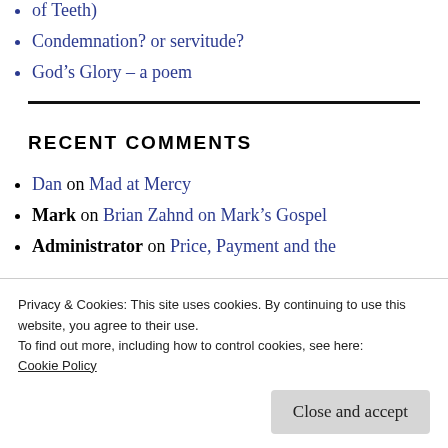of Teeth)
Condemnation? or servitude?
God's Glory – a poem
RECENT COMMENTS
Dan on Mad at Mercy
Mark on Brian Zahnd on Mark's Gospel
Administrator on Price, Payment and the
Privacy & Cookies: This site uses cookies. By continuing to use this website, you agree to their use.
To find out more, including how to control cookies, see here:
Cookie Policy
Close and accept
imputation